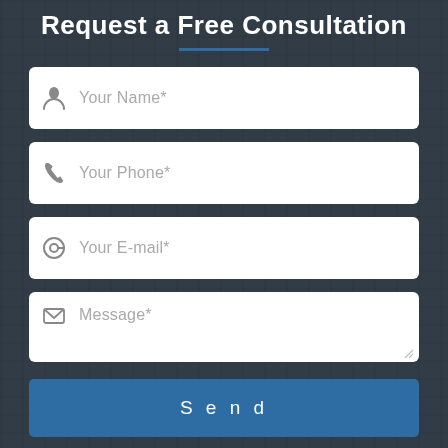Request a Free Consultation
[Figure (infographic): Web contact form with four input fields (Your Name*, Your Phone*, Your E-mail*, Message*) and a Send button, displayed on a dark background with server rack imagery.]